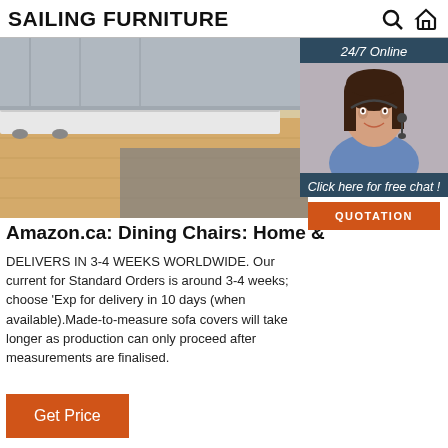SAILING FURNITURE
[Figure (screenshot): Hero image showing a bed frame with white border on hardwood floor with grey rug. A customer service chat overlay is positioned to the right showing '24/7 Online', a woman with headset, 'Click here for free chat!', and 'QUOTATION' button.]
Amazon.ca: Dining Chairs: Home &
DELIVERS IN 3-4 WEEKS WORLDWIDE. Our current for Standard Orders is around 3-4 weeks; choose 'Exp for delivery in 10 days (when available).Made-to-measure sofa covers will take longer as production can only proceed after measurements are finalised.
Get Price